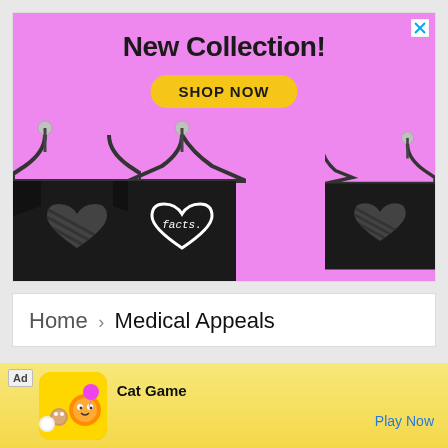[Figure (advertisement): Pink background advertisement banner showing 'New Collection!' text with a yellow 'SHOP NOW' button and three black t-shirts with heart designs hanging on clothes hangers. Close button (X) in top right corner.]
Home › Medical Appeals
[Figure (other): Partial view of a black circular avatar/logo icon at the bottom of the page]
[Figure (advertisement): Bottom advertisement bar showing 'Ad' label, cartoon cat game icon with colorful cats, text 'Cat Game', and 'Play Now' link in blue]